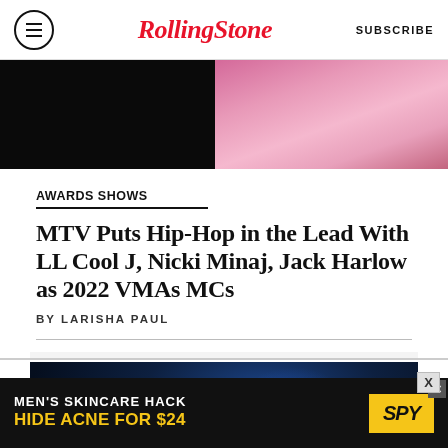Rolling Stone | SUBSCRIBE
[Figure (photo): Top cropped photo showing pink/colorful background, partially visible figure]
AWARDS SHOWS
MTV Puts Hip-Hop in the Lead With LL Cool J, Nicki Minaj, Jack Harlow as 2022 VMAs MCs
BY LARISHA PAUL
[Figure (photo): Concert photo of performer with saxophone on dark stage with blue lighting]
[Figure (other): Advertisement: MEN'S SKINCARE HACK HIDE ACNE FOR $24 with SPY logo]